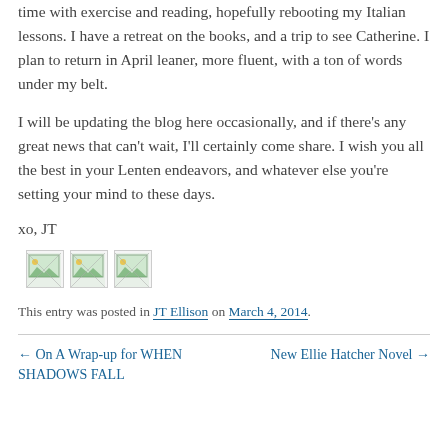time with exercise and reading, hopefully rebooting my Italian lessons. I have a retreat on the books, and a trip to see Catherine. I plan to return in April leaner, more fluent, with a ton of words under my belt.
I will be updating the blog here occasionally, and if there's any great news that can't wait, I'll certainly come share. I wish you all the best in your Lenten endeavors, and whatever else you're setting your mind to these days.
xo, JT
[Figure (other): Three broken/placeholder image icons in a row]
This entry was posted in JT Ellison on March 4, 2014.
← On A Wrap-up for WHEN SHADOWS FALL
New Ellie Hatcher Novel →